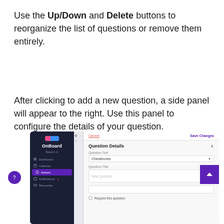Use the Up/Down and Delete buttons to reorganize the list of questions or remove them entirely.
After clicking to add a new question, a side panel will appear to the right. Use this panel to configure the details of your question.
[Figure (screenshot): Screenshot of OnBoard application showing a side panel with 'Question Details' form. The left sidebar has a dark navy background with OnBoard logo and navigation items including Dashboard, Calendar, Actions (highlighted), Notifications, and Resources. The main panel shows a form with Cancel and Save Changes buttons at top, followed by Question Details section header, Question Text field showing 'Checkboxes', Question Title field showing 'New Question', a text area, and a 'Require this question' checkbox. A purple back-to-top arrow button appears at the right edge. A circular purple help/question mark button appears at the bottom left.]